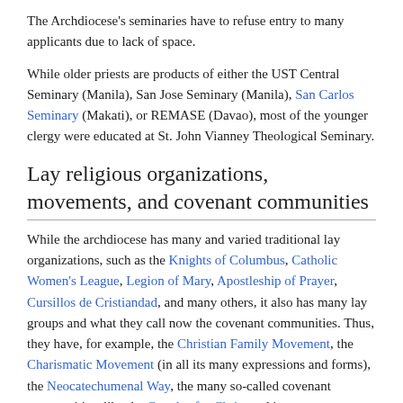The Archdiocese's seminaries have to refuse entry to many applicants due to lack of space.
While older priests are products of either the UST Central Seminary (Manila), San Jose Seminary (Manila), San Carlos Seminary (Makati), or REMASE (Davao), most of the younger clergy were educated at St. John Vianney Theological Seminary.
Lay religious organizations, movements, and covenant communities
While the archdiocese has many and varied traditional lay organizations, such as the Knights of Columbus, Catholic Women's League, Legion of Mary, Apostleship of Prayer, Cursillos de Cristiandad, and many others, it also has many lay groups and what they call now the covenant communities. Thus, they have, for example, the Christian Family Movement, the Charismatic Movement (in all its many expressions and forms), the Neocatechumenal Way, the many so-called covenant communities, like the Couples for Christ and its many outreaches to widows and children, the Kahayag sa Dios (also with its many outreaches), the